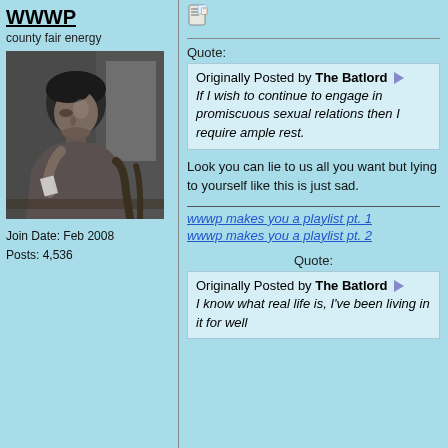WWWP
county fair energy
[Figure (photo): Black and white photograph of a young woman with short dark hair, looking to the side, holding something near her mouth, seated near a desk or table.]
Join Date: Feb 2008
Posts: 4,536
[Figure (other): Small icon resembling a document/list icon at the top right of the right column.]
Quote:
Originally Posted by The Batlord
If I wish to continue to engage in promiscuous sexual relations then I require ample rest.
Look you can lie to us all you want but lying to yourself like this is just sad.
wwwp makes you a playlist pt. 1
wwwp makes you a playlist pt. 2
Quote:
Originally Posted by The Batlord
I know what real life is, I've been living in it for well